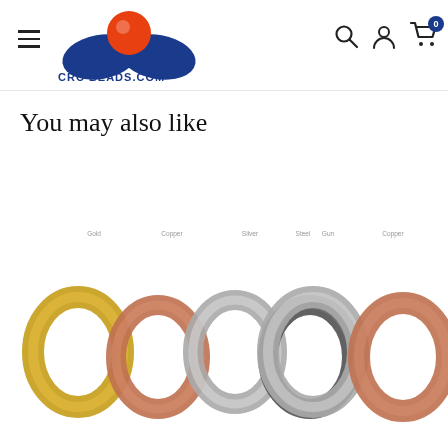[Figure (logo): CRC Beads.com / Bead Resources Corp logo with blue wing shapes and orange circle]
You may also like
[Figure (photo): Four rings in gold, rose gold, silver, and dark silver color variants shown as product images]
[Figure (photo): Two rings in silver and rose gold color variants shown as product images, partially cropped on right side]